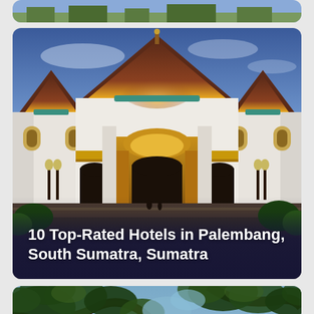[Figure (photo): Partial top of a card/image, cropped at top of page]
[Figure (photo): Grand ornate building with Islamic-Moorish architecture in Palembang, South Sumatra. White facade with golden-yellow arched entrance gate, dark conical roofs with teal/copper trim, illuminated at dusk with warm orange glow on center dome.]
10 Top-Rated Hotels in Palembang, South Sumatra, Sumatra
[Figure (photo): Outdoor scene with tropical tree branches and leaves in foreground against a blue sky, partially visible at bottom of page.]